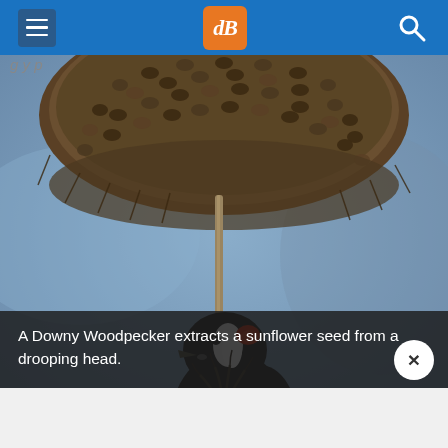dPS navigation header with hamburger menu, dPS logo, and search icon
[Figure (photo): A Downy Woodpecker clinging upside-down to a drooping dried sunflower head, extracting seeds. The bird has distinctive black and white plumage with a red patch. Background is blurred blue-grey.]
A Downy Woodpecker extracts a sunflower seed from a drooping head.